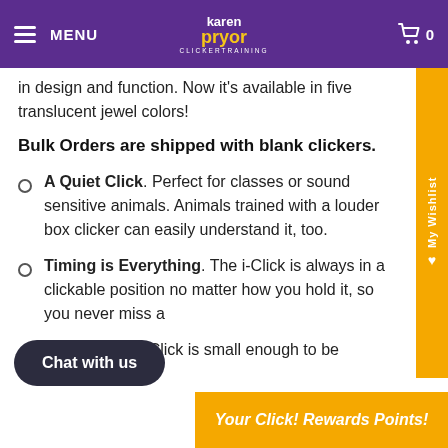MENU | Karen Pryor Clicker Training | 0
in design and function. Now it's available in five translucent jewel colors!
Bulk Orders are shipped with blank clickers.
A Quiet Click. Perfect for classes or sound sensitive animals. Animals trained with a louder box clicker can easily understand it, too.
Timing is Everything. The i-Click is always in a clickable position no matter how you hold it, so you never miss a click.
Perfectly Sized. The i-Click is small enough to be...
Chat with us
Your Click! Rewards Points!